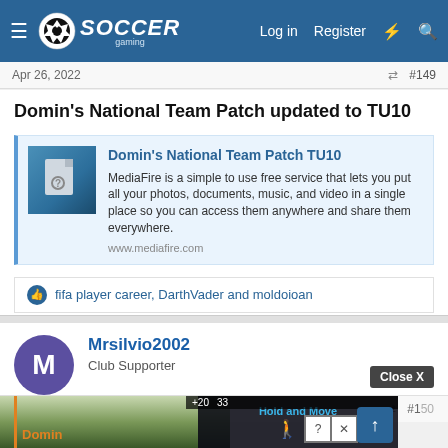Soccer Gaming — Log in | Register
Apr 26, 2022   #149
Domin's National Team Patch updated to TU10
[Figure (screenshot): Link preview card for Domin's National Team Patch TU10 on MediaFire. Shows a document icon on blue background, title in blue, description text, and www.mediafire.com URL.]
fifa player career, DarthVader and moldoioan
Mrsilvio2002
Club Supporter
Jun 13, 2022   #150
[Figure (screenshot): Ad overlay showing Hold and Move advertisement with dark background and trees background, with Close X button visible.]